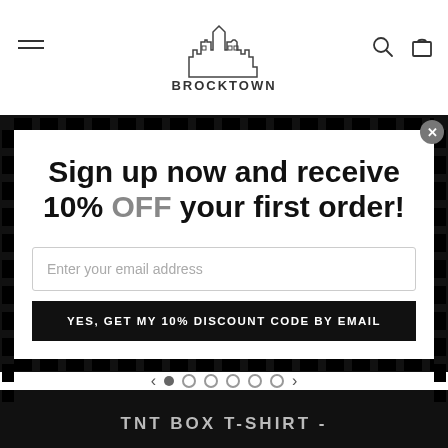[Figure (logo): Brocktown brand logo in outline style with city skyline graphic]
Sign up now and receive 10% OFF your first order!
Enter your email address
YES, GET MY 10% DISCOUNT CODE BY EMAIL
TNT BOX T-SHIRT -